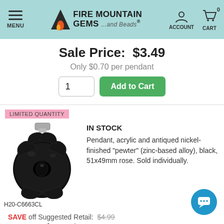MENU | FIRE MOUNTAIN GEMS ...and Beads | ACCOUNT | CART 0
Sale Price: $3.49
Only $0.70 per pendant
LIMITED QUANTITY
[Figure (photo): Black acrylic rose pendant with antiqued nickel-finished pewter bail, 51x49mm]
H20-C6663CL
IN STOCK
Pendant, acrylic and antiqued nickel-finished "pewter" (zinc-based alloy), black, 51x49mm rose. Sold individually.
SAVE off Suggested Retail: $4.99
Your Price: $2.50
Only $2.50 per pendant